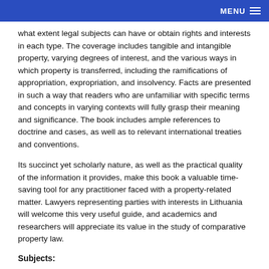MENU
what extent legal subjects can have or obtain rights and interests in each type. The coverage includes tangible and intangible property, varying degrees of interest, and the various ways in which property is transferred, including the ramifications of appropriation, expropriation, and insolvency. Facts are presented in such a way that readers who are unfamiliar with specific terms and concepts in varying contexts will fully grasp their meaning and significance. The book includes ample references to doctrine and cases, as well as to relevant international treaties and conventions.
Its succinct yet scholarly nature, as well as the practical quality of the information it provides, make this book a valuable time-saving tool for any practitioner faced with a property-related matter. Lawyers representing parties with interests in Lithuania will welcome this very useful guide, and academics and researchers will appreciate its value in the study of comparative property law.
Subjects:
European Jurisdictions, Lithuania